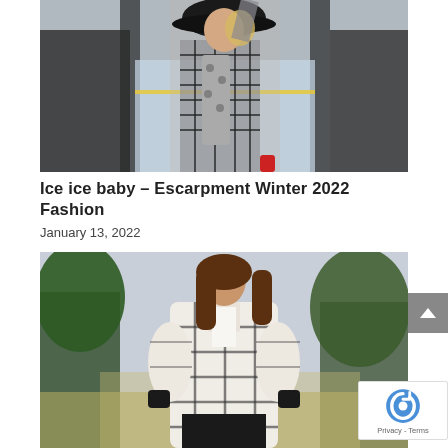[Figure (photo): Woman wearing black and white plaid coat and black hat, posed at an ice rink with blurred background]
Ice ice baby – Escarpment Winter 2022 Fashion
January 13, 2022
[Figure (photo): Woman with long brown hair wearing a white and black plaid oversized coat, standing outdoors with trees in the background]